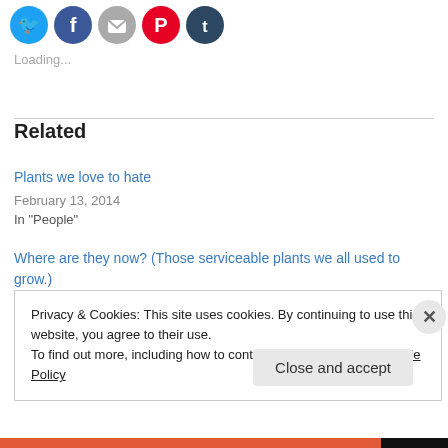[Figure (other): Social media sharing icons: Twitter (blue), Facebook (blue), Email (grey), Pinterest (red), Tumblr (dark navy)]
Loading...
Related
Plants we love to hate
February 13, 2014
In "People"
Where are they now? (Those serviceable plants we all used to grow.)
Privacy & Cookies: This site uses cookies. By continuing to use this website, you agree to their use.
To find out more, including how to control cookies, see here: Cookie Policy
Close and accept